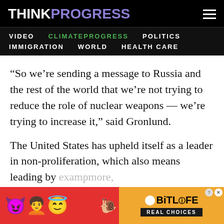THINKPROGRESS
VIDEO  CLIMATEPROGRESS  POLITICS  IMMIGRATION  WORLD  HEALTH CARE
“So we’re sending a message to Russia and the rest of the world that we’re not trying to reduce the role of nuclear weapons — we’re trying to increase it,” said Gronlund.
The United States has upheld itself as a leader in non-proliferation, which also means leading by example…more, it seem…
[Figure (screenshot): BitLife advertisement banner with emoji characters (devil, girl, angel emoji) on red background and BitLife logo with REAL CHOICES text on orange/dark background]